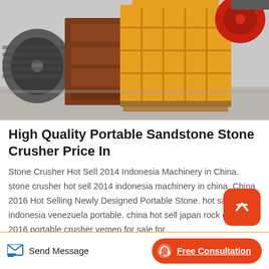[Figure (photo): Photo of industrial stone crusher machinery — a yellow jaw crusher frame in the center, red flywheel on the right, another red/grey flywheel on the left, sitting on a concrete floor.]
High Quality Portable Sandstone Stone Crusher Price In
Stone Crusher Hot Sell 2014 Indonesia Machinery in China. stone crusher hot sell 2014 indonesia machinery in china. China 2016 Hot Selling Newly Designed Portable Stone. hot sale in indonesia venezuela portable. china hot sell japan rock crusher. 2016 portable crusher yemen for sale for